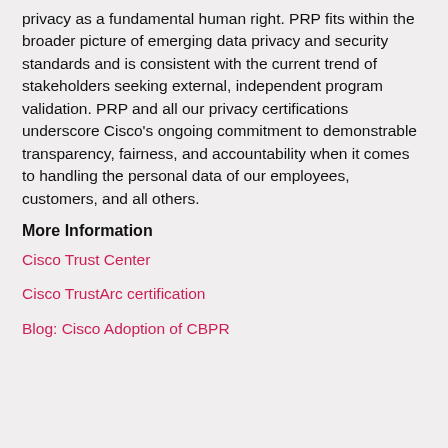privacy as a fundamental human right. PRP fits within the broader picture of emerging data privacy and security standards and is consistent with the current trend of stakeholders seeking external, independent program validation. PRP and all our privacy certifications underscore Cisco’s ongoing commitment to demonstrable transparency, fairness, and accountability when it comes to handling the personal data of our employees, customers, and all others.
More Information
Cisco Trust Center
Cisco TrustArc certification
Blog: Cisco Adoption of CBPR